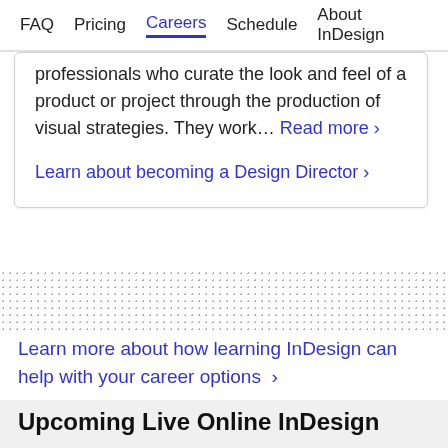FAQ  Pricing  Careers  Schedule  About InDesign
professionals who curate the look and feel of a product or project through the production of visual strategies. They work… Read more >
Learn about becoming a Design Director >
Learn more about how learning InDesign can help with your career options >
Upcoming Live Online InDesign